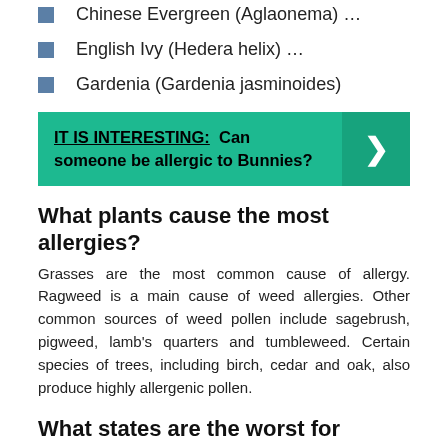Chinese Evergreen (Aglaonema) …
English Ivy (Hedera helix) …
Gardenia (Gardenia jasminoides)
[Figure (infographic): Teal banner with text 'IT IS INTERESTING: Can someone be allergic to Bunnies?' and a right-arrow chevron on a darker teal background on the right side.]
What plants cause the most allergies?
Grasses are the most common cause of allergy. Ragweed is a main cause of weed allergies. Other common sources of weed pollen include sagebrush, pigweed, lamb's quarters and tumbleweed. Certain species of trees, including birch, cedar and oak, also produce highly allergenic pollen.
What states are the worst for allergies?
The five states that present the most challenges for those